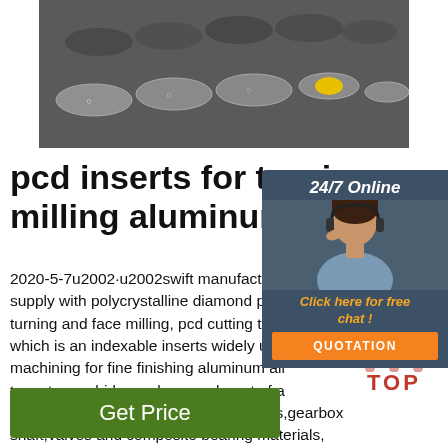[Figure (photo): Photo of metal cylindrical rods/bars with colored end markings, viewed from the end on a gray surface]
pcd inserts for turning and milling aluminum alloy ...
2020-5-7u2002·u2002swift manufacturing supply with polycrystalline diamond pcd turning and face milling, pcd cutting tool which is an indexable inserts widely used machining for fine finishing aluminum alloy tungsten carbide, such as work part of a cylinder head,wheel hub,pressure tanks,gearbox shaft,valves and composite bearing materials, different pcd grain sizes …
[Figure (photo): 24/7 Online chat widget with a smiling woman wearing a headset, Click here for free chat link, and QUOTATION button]
[Figure (other): TOP badge with orange dot triangle icon above red TOP text]
Get Price